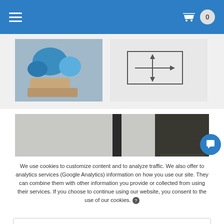Navigation bar with hamburger menu and shopping cart (0 items)
[Figure (photo): Blue 3D printed object being held by a hand, shown in top-left product image area]
[Figure (schematic): Technical diagram with arrows in a box, shown in top-right product image area]
[Figure (photo): 3D printer with TFT Touch Screen label. Text reads: TFT Touch Screen, Full color, multi-language, user-friendly UI]
We use cookies to customize content and to analyze traffic. We also offer to analytics services (Google Analytics) information on how you use our site. They can combine them with other information you provide or collected from using their services. If you choose to continue using our website, you consent to the use of our cookies.
Required  Preferences  Statistics  Marketing
I ACCEPT